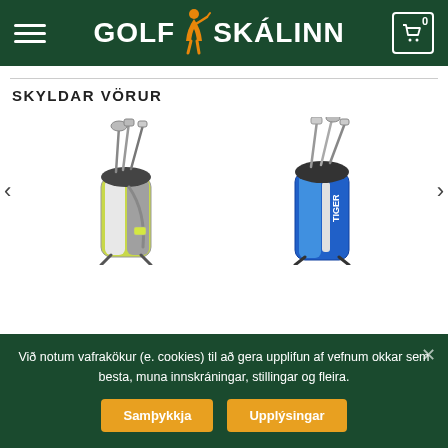GOLFSKÁLINN
SKYLDAR VÖRUR
[Figure (photo): Two golf bag sets shown side by side — left: a white and yellow/green stand bag with clubs, right: a blue Tiger stand bag with clubs. Navigation arrows on each side.]
Við notum vafrakökur (e. cookies) til að gera upplifun af vefnum okkar sem besta, muna innskráningar, stillingar og fleira.